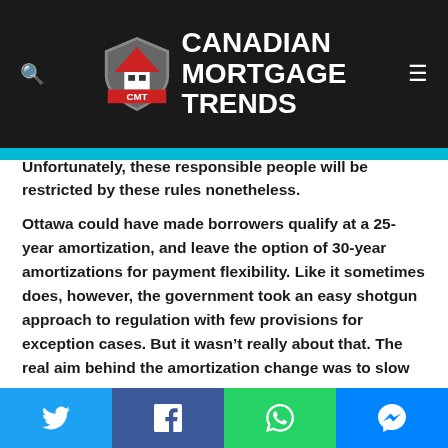Canadian Mortgage Trends
Unfortunately, these responsible people will be restricted by these rules nonetheless.
Ottawa could have made borrowers qualify at a 25-year amortization, and leave the option of 30-year amortizations for payment flexibility. Like it sometimes does, however, the government took an easy shotgun approach to regulation with few provisions for exception cases. But it wasn't really about that. The real aim behind the amortization change was to slow the market, plain and simple. Policymakers probably barely considered the micro-economic repercussions for individual borrowers.
Share buttons: Twitter, Facebook, WhatsApp, Messenger